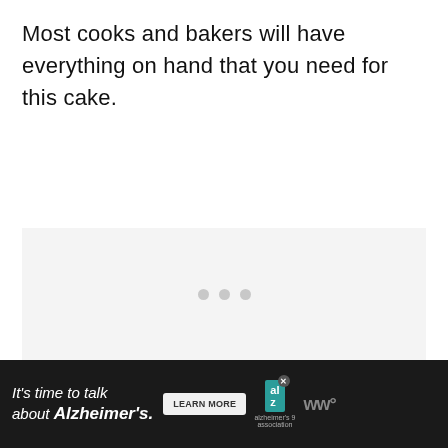Most cooks and bakers will have everything on hand that you need for this cake.
[Figure (other): Light gray placeholder box with three small gray dots centered, representing a loading or ad placeholder area.]
[Figure (other): Advertisement banner with dark background. Text reads: It's time to talk about Alzheimer's. Contains a LEARN MORE button, Alzheimer's Association logo, and WW logo.]